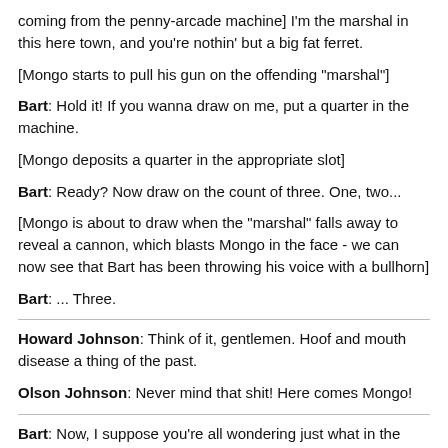coming from the penny-arcade machine] I'm the marshal in this here town, and you're nothin' but a big fat ferret.
[Mongo starts to pull his gun on the offending "marshal"]
Bart: Hold it! If you wanna draw on me, put a quarter in the machine.
[Mongo deposits a quarter in the appropriate slot]
Bart: Ready? Now draw on the count of three. One, two...
[Mongo is about to draw when the "marshal" falls away to reveal a cannon, which blasts Mongo in the face - we can now see that Bart has been throwing his voice with a bullhorn]
Bart: ... Three.
Howard Johnson: Think of it, gentlemen. Hoof and mouth disease a thing of the past.
Olson Johnson: Never mind that shit! Here comes Mongo!
Bart: Now, I suppose you're all wondering just what in the heck you're doing out here in the middle of a prairie in the middle of nowhere in the middle of the night.